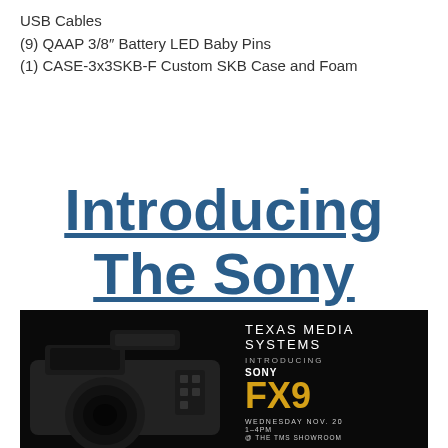USB Cables
(9) QAAP 3/8" Battery LED Baby Pins
(1) CASE-3x3SKB-F Custom SKB Case and Foam
Introducing The Sony FX9
[Figure (photo): Texas Media Systems advertisement for the Sony FX9 camera event on Wednesday Nov. 20, 1-4pm at the TMS Showroom, featuring an image of the Sony FX9 camera on a black background with gold FX9 text.]